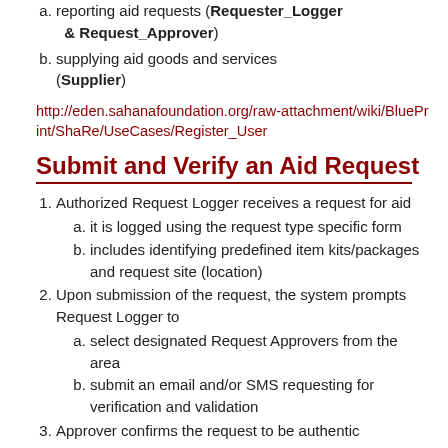reporting aid requests (Requester_Logger & Request_Approver)
supplying aid goods and services (Supplier)
[Figure (other): Broken image link to http://eden.sahanafoundation.org/raw-attachment/wiki/BluePrint/ShaRe/UseCases/Register_User...]
Submit and Verify an Aid Request
Authorized Request Logger receives a request for aid
it is logged using the request type specific form
includes identifying predefined item kits/packages and request site (location)
Upon submission of the request, the system prompts Request Logger to
select designated Request Approvers from the area
submit an email and/or SMS requesting for verification and validation
Approver confirms the request to be authentic
clicks on approval URL in the Email or SMS